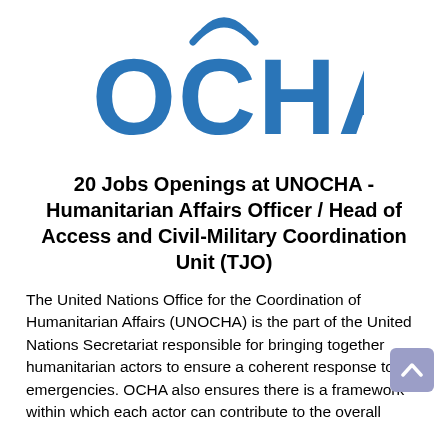[Figure (logo): OCHA logo — blue stylized arc/umbrella shape above the bold blue text 'OCHA']
20 Jobs Openings at UNOCHA - Humanitarian Affairs Officer / Head of Access and Civil-Military Coordination Unit (TJO)
The United Nations Office for the Coordination of Humanitarian Affairs (UNOCHA) is the part of the United Nations Secretariat responsible for bringing together humanitarian actors to ensure a coherent response to emergencies. OCHA also ensures there is a framework within which each actor can contribute to the overall response effort.